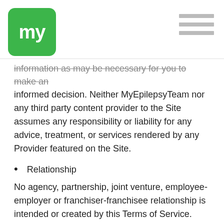my [logo] | menu
information as may be necessary for you to make an informed decision. Neither MyEpilepsyTeam nor any third party content provider to the Site assumes any responsibility or liability for any advice, treatment, or services rendered by any Provider featured on the Site.
Relationship
No agency, partnership, joint venture, employee-employer or franchiser-franchisee relationship is intended or created by this Terms of Service. This Terms of Service is solely between you and MyHealthTeam and is not intended to be for the benefit of any third party except as expressly provided herein. If there is a dispute between participants on this Site, or between users and any third party, you understand and agree that MyHealthTeam is under no obligation to become involved. You by …